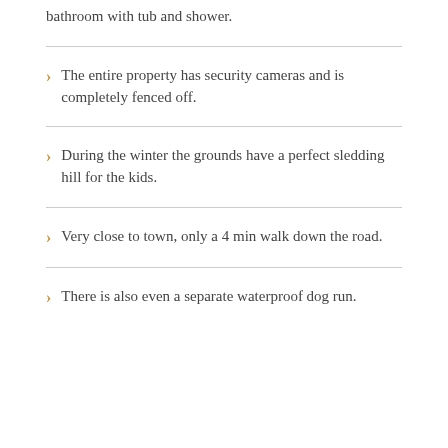bathroom with tub and shower.
The entire property has security cameras and is completely fenced off.
During the winter the grounds have a perfect sledding hill for the kids.
Very close to town, only a 4 min walk down the road.
There is also even a separate waterproof dog run.